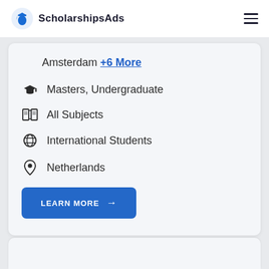ScholarshipsAds
Amsterdam +6 More
Masters, Undergraduate
All Subjects
International Students
Netherlands
LEARN MORE →